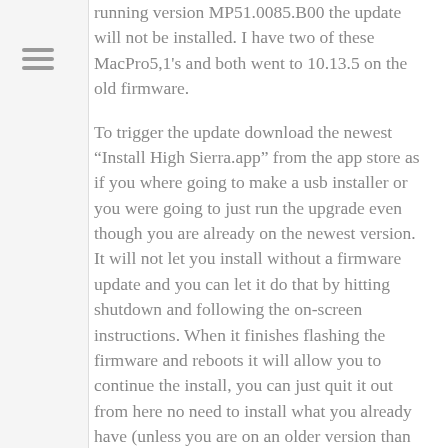running version MP51.0085.B00 the update will not be installed. I have two of these MacPro5,1's and both went to 10.13.5 on the old firmware.
To trigger the update download the newest “Install High Sierra.app” from the app store as if you where going to make a usb installer or you were going to just run the upgrade even though you are already on the newest version. It will not let you install without a firmware update and you can let it do that by hitting shutdown and following the on-screen instructions. When it finishes flashing the firmware and reboots it will allow you to continue the install, you can just quit it out from here no need to install what you already have (unless you are on an older version than 10.13.5) and drag it into the trash unless you want to keep